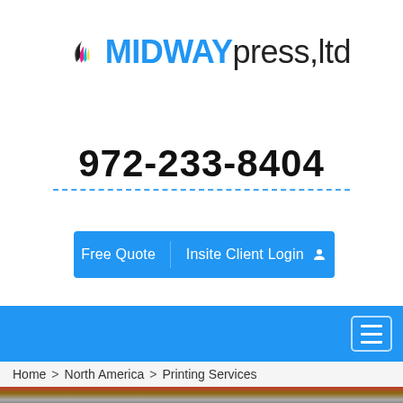[Figure (logo): Midway Press Ltd logo with colorful swoosh icon in cyan, magenta, yellow and black, with MIDWAY in blue bold and press,ltd in dark gray]
972-233-8404
Free Quote   Insite Client Login
[Figure (screenshot): Blue navigation bar with hamburger menu button on the right]
Home > North America > Printing Services